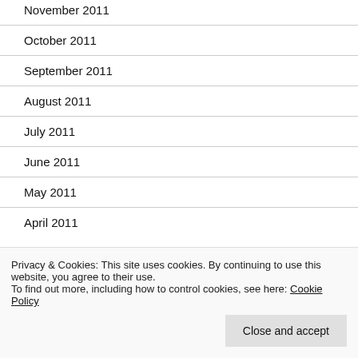November 2011
October 2011
September 2011
August 2011
July 2011
June 2011
May 2011
April 2011
Privacy & Cookies: This site uses cookies. By continuing to use this website, you agree to their use.
To find out more, including how to control cookies, see here: Cookie Policy
Close and accept